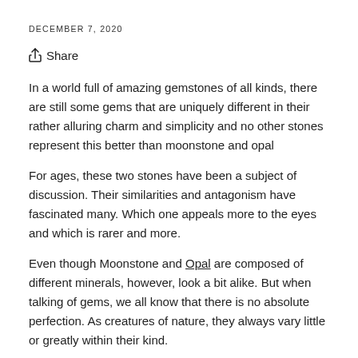DECEMBER 7, 2020
Share
In a world full of amazing gemstones of all kinds, there are still some gems that are uniquely different in their rather alluring charm and simplicity and no other stones represent this better than moonstone and opal
For ages, these two stones have been a subject of discussion. Their similarities and antagonism have fascinated many. Which one appeals more to the eyes and which is rarer and more.
Even though Moonstone and Opal are composed of different minerals, however, look a bit alike. But when talking of gems, we all know that there is no absolute perfection. As creatures of nature, they always vary little or greatly within their kind.